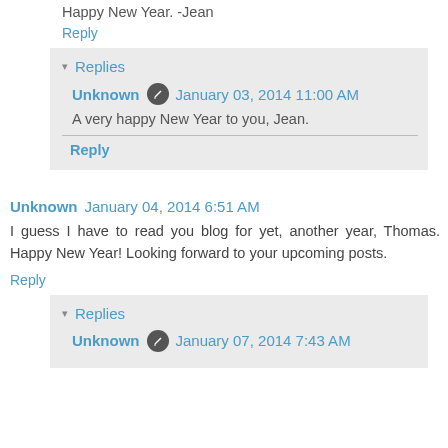Happy New Year. -Jean
Reply
▾ Replies
Unknown  January 03, 2014 11:00 AM
A very happy New Year to you, Jean.
Reply
Unknown  January 04, 2014 6:51 AM
I guess I have to read you blog for yet, another year, Thomas. Happy New Year! Looking forward to your upcoming posts.
Reply
▾ Replies
Unknown  January 07, 2014 7:43 AM